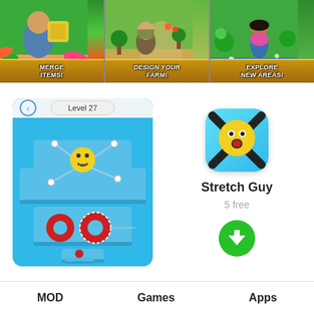[Figure (screenshot): Three mobile game screenshots side by side: 'MERGE ITEMS!', 'DESIGN YOUR FARM!', 'EXPLORE NEW AREAS!']
[Figure (screenshot): Stretch Guy game screenshot showing Level 27 with a smiley face character connected by elastic bands over blue platforms with red circular obstacles]
[Figure (illustration): Stretch Guy app icon: cyan/blue rounded square with surprised yellow emoji face and dark X crossing belts]
Stretch Guy
5 free
[Figure (illustration): Green circular download button with white downward arrow]
MOD   Games   Apps